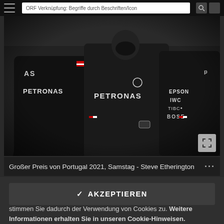ORF Verknüpfung: Begriffe durch Beschriften/Icon
[Figure (photo): Formula 1 Mercedes-AMG Petronas team members in black uniforms with Petronas, Epson, IWC, TIBC, Bose logos, wearing masks in a pit lane or garage setting]
Großer Preis von Portugal 2021, Samstag - Steve Etherington
Damit wollen wir unsere Webseiten nutzerfreundlicher gestalten und fortlaufend verbessern. Wenn Sie die Webseiten weiter nutzen, stimmen Sie dadurch der Verwendung von Cookies zu. Weitere Informationen erhalten Sie in unseren Cookie-Hinweisen.
✓ AKZEPTIEREN